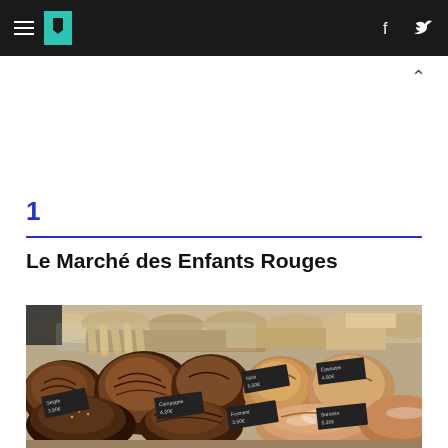HuffPost navigation with hamburger menu, logo, Facebook and Twitter icons
^
1
Le Marché des Enfants Rouges
[Figure (photo): A market stall displaying various artisan rustic bread loaves with small chalkboard price/label signs in front of each type of bread.]